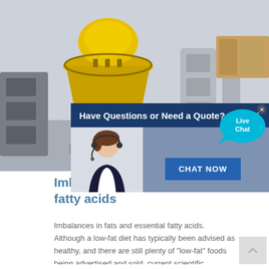[Figure (photo): Industrial setting with large yellow cone crusher machinery in a warehouse/factory, overlaid with a live chat popup showing a female customer service representative wearing a headset, with text 'Have Questions or Need a Quote?' and a 'CHAT NOW' button on dark blue background. A 'Live Chat' speech bubble icon appears in the upper right corner of the popup.]
Imbalances in fats and essential fatty acids
Imbalances in fats and essential fatty acids. Although a low-fat diet has typically been advised as healthy, and there are still plenty of "low-fat" foods being advertised and sold, current scientific evidence shows that low fat is not healthy, especially when it comes to mental health [1]....